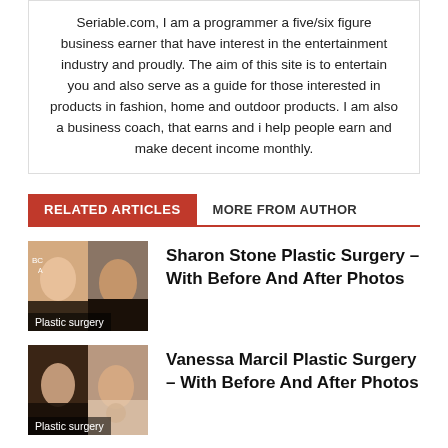Seriable.com, I am a programmer a five/six figure business earner that have interest in the entertainment industry and proudly. The aim of this site is to entertain you and also serve as a guide for those interested in products in fashion, home and outdoor products. I am also a business coach, that earns and i help people earn and make decent income monthly.
RELATED ARTICLES   MORE FROM AUTHOR
Sharon Stone Plastic Surgery – With Before And After Photos
Plastic surgery
Vanessa Marcil Plastic Surgery – With Before And After Photos
Plastic surgery
Plastic Surgery – With